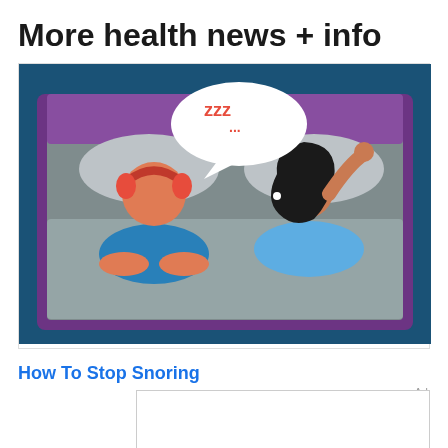More health news + info
[Figure (illustration): Illustration of a couple in bed: a man with red headphones lying with arms crossed, and a woman awake looking frustrated, with a speech bubble showing 'zzz...' coming from the sleeping person. Dark teal/navy background with purple bed frame.]
How To Stop Snoring